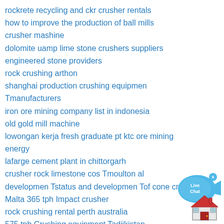rockrete recycling and ckr crusher rentals
how to improve the production of ball mills
crusher mashine
dolomite uamp lime stone crushers suppliers
engineered stone providers
rock crushing arthon
shanghai production crushing equipmen Tmanufacturers
iron ore mining company list in indonesia
old gold mill machine
lowongan kerja fresh graduate pt ktc ore mining energy
lafarge cement plant in chittorgarh
crusher rock limestone cos Tmoulton al
developmen Tstatus and developmen Tof cone crusher
Malta 365 tph Impact crusher
rock crushing rental perth australia
575 tph Crushing equipment Tadjikistan
florida limestone mined
[Figure (illustration): Live Chat bubble icon with blue speech bubble and fish shape, with a close (x) button]